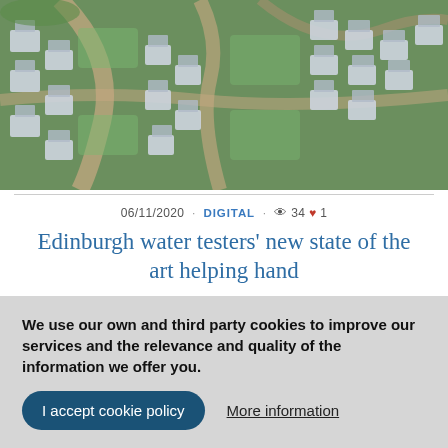[Figure (photo): Aerial drone view of a residential neighbourhood with curved streets and grey-roofed houses surrounded by green lawns.]
06/11/2020 · DIGITAL · 👁 34 ♥ 1
Edinburgh water testers' new state of the art helping hand
[Figure (photo): Partial view of a second image strip below the article title, showing a dark background with a large quotation mark.]
We use our own and third party cookies to improve our services and the relevance and quality of the information we offer you.
I accept cookie policy
More information